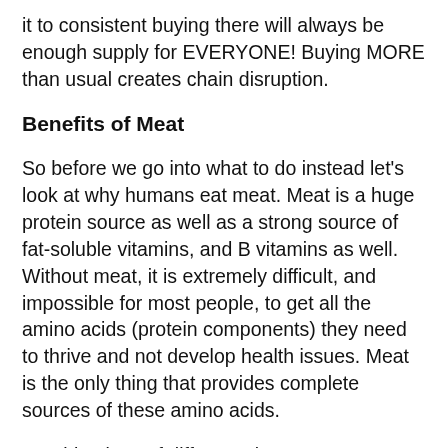it to consistent buying there will always be enough supply for EVERYONE! Buying MORE than usual creates chain disruption.
Benefits of Meat
So before we go into what to do instead let's look at why humans eat meat. Meat is a huge protein source as well as a strong source of fat-soluble vitamins, and B vitamins as well. Without meat, it is extremely difficult, and impossible for most people, to get all the amino acids (protein components) they need to thrive and not develop health issues. Meat is the only thing that provides complete sources of these amino acids.
Combinations of different plants eaten together may fulfill this need, possibly. This is a complex